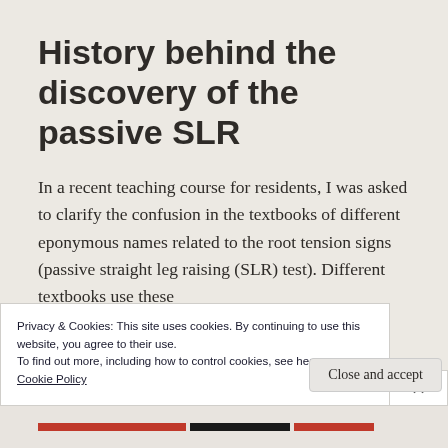History behind the discovery of the passive SLR
In a recent teaching course for residents, I was asked to clarify the confusion in the textbooks of different eponymous names related to the root tension signs (passive straight leg raising (SLR) test). Different textbooks use these
Privacy & Cookies: This site uses cookies. By continuing to use this website, you agree to their use.
To find out more, including how to control cookies, see here:
Cookie Policy
Close and accept